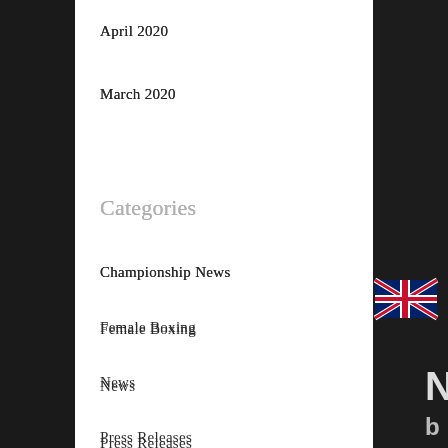April 2020
March 2020
Categories
Championship News
Female Boxing
News
Press Releases
Video